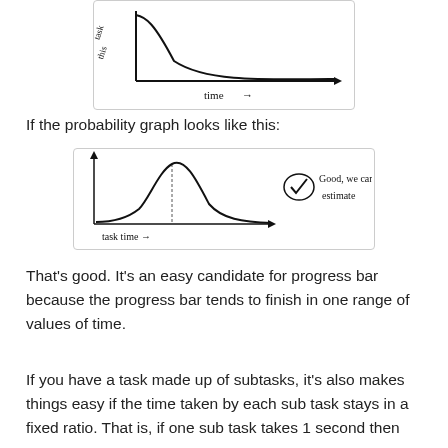[Figure (continuous-plot): Handwritten sketch of a decreasing curve graph. Y-axis labeled 'prob task this' (written vertically), X-axis labeled 'time →'. The curve drops steeply then flattens.]
If the probability graph looks like this:
[Figure (continuous-plot): Handwritten sketch showing a bell-curve shaped distribution. X-axis labeled 'task time →'. A checkmark in a circle on the right with text 'Good, we can estimate'.]
That's good. It's an easy candidate for progress bar because the progress bar tends to finish in one range of values of time.
If you have a task made up of subtasks, it's also makes things easy if the time taken by each sub task stays in a fixed ratio. That is, if one sub task takes 1 second then you